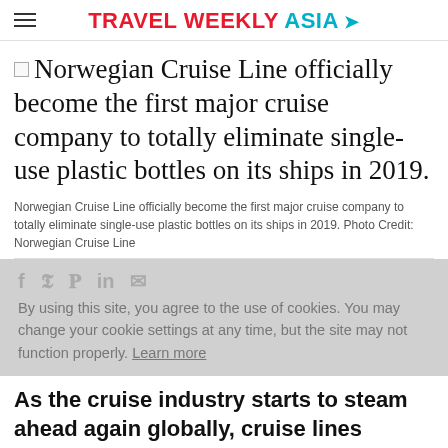TRAVEL WEEKLY ASIA
Norwegian Cruise Line officially become the first major cruise company to totally eliminate single-use plastic bottles on its ships in 2019.
Norwegian Cruise Line officially become the first major cruise company to totally eliminate single-use plastic bottles on its ships in 2019. Photo Credit: Norwegian Cruise Line
By using this site, you agree to the use of cookies. You may change your cookie settings at any time, but the site may not function properly. Learn more
As the cruise industry starts to steam ahead again globally, cruise lines understand that surviving into the future requires catering to an important customer: the eco-minded traveller.
Even pre pandemic, this new generation of clients